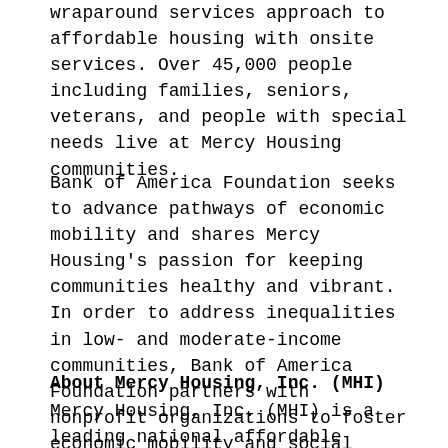wraparound services approach to affordable housing with onsite services. Over 45,000 people including families, seniors, veterans, and people with special needs live at Mercy Housing communities.
Bank of America Foundation seeks to advance pathways of economic mobility and shares Mercy Housing's passion for keeping communities healthy and vibrant. In order to address inequalities in low- and moderate-income communities, Bank of America Foundation partners with nonprofit organizations to foster economic mobility and social progress. This grant is part of Bank of America Foundation's $1 billion, four-year initiative to support the advancement of racial equality and economic opportunity, with a particular focus on helping create opportunity for people and communities of color.
About Mercy Housing, Inc. (MHI)
Mercy Housing, Inc. (MHI) is a leading national affordable housing nonprofit headquartered in Denver. Established by